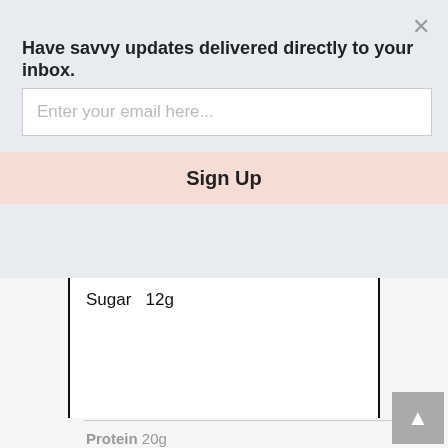Have savvy updates delivered directly to your inbox.
Enter your email here...
Sign Up
| Sugar  12g |  |  |
| Protein  20g |  |  |
>